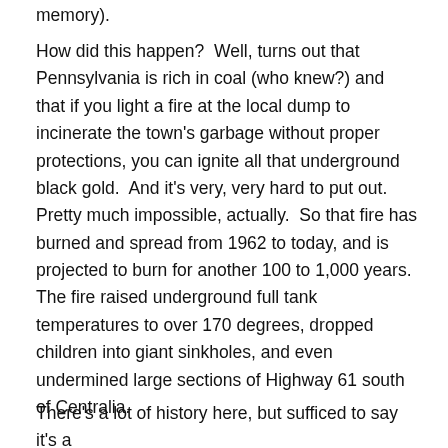memory).
How did this happen?  Well, turns out that Pennsylvania is rich in coal (who knew?) and that if you light a fire at the local dump to incinerate the town's garbage without proper protections, you can ignite all that underground black gold.  And it's very, very hard to put out.  Pretty much impossible, actually.  So that fire has burned and spread from 1962 to today, and is projected to burn for another 100 to 1,000 years.  The fire raised underground full tank temperatures to over 170 degrees, dropped children into giant sinkholes, and even undermined large sections of Highway 61 south of Centralia.
There's a lot of history here, but sufficed to say it's a